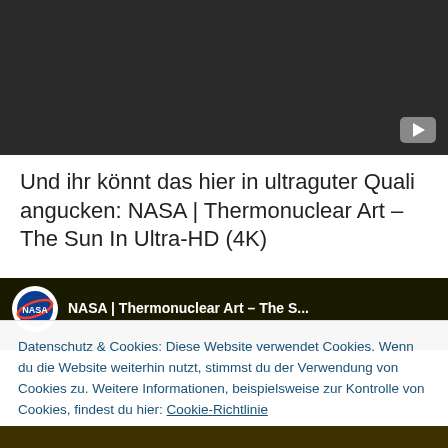[Figure (screenshot): Dark video thumbnail with play button in bottom-right corner]
Und ihr könnt das hier in ultraguter Quali angucken: NASA | Thermonuclear Art – The Sun In Ultra-HD (4K)
[Figure (screenshot): NASA YouTube thumbnail showing NASA logo and video title 'NASA | Thermonuclear Art – The S...']
Datenschutz & Cookies: Diese Website verwendet Cookies. Wenn du die Website weiterhin nutzt, stimmst du der Verwendung von Cookies zu. Weitere Informationen, beispielsweise zur Kontrolle von Cookies, findest du hier: Cookie-Richtlinie
Schließen und Akzeptieren